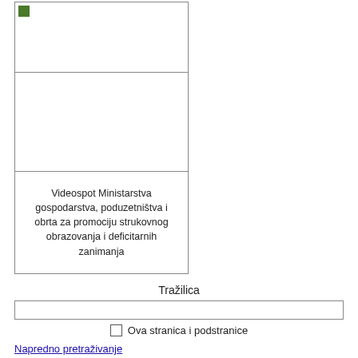[Figure (screenshot): A bordered box with three cells: a top cell with a small green icon, an empty middle cell, and a bottom cell containing a caption text about Videospot Ministarstva]
Videospot Ministarstva gospodarstva, poduzetništva i obrta za promociju strukovnog obrazovanja i deficitarnih zanimanja
Tražilica
Ova stranica i podstranice
Napredno pretraživanje
Traži